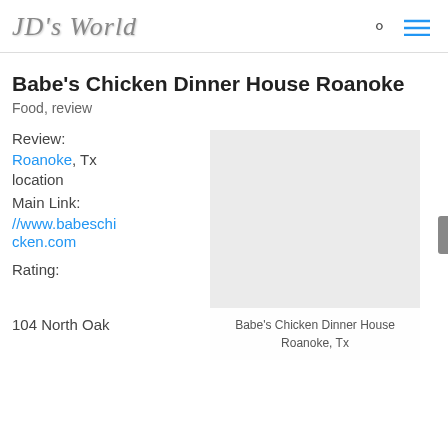JD's World
Babe's Chicken Dinner House Roanoke
Food, review
Review:
Roanoke, Tx
location
Main Link:
//www.babeschicken.com
Rating:
[Figure (map): Embedded map placeholder showing Babe's Chicken Dinner House Roanoke, Tx location]
Babe's Chicken Dinner House
Roanoke, Tx
104 North Oak